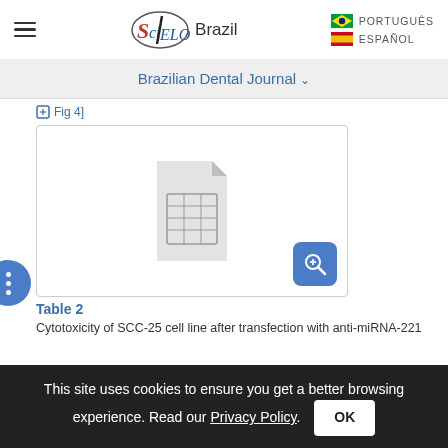SciELO Brazil | Brazilian Dental Journal | PORTUGUÊS | ESPAÑOL
Brazilian Dental Journal
[Fig 4]
[Figure (table-as-image): Placeholder icon of a spreadsheet/table file with a zoom-in button in the bottom right corner]
Table 2
Cytotoxicity of SCC-25 cell line after transfection with anti-miRNA-221
This site uses cookies to ensure you get a better browsing experience. Read our Privacy Policy.